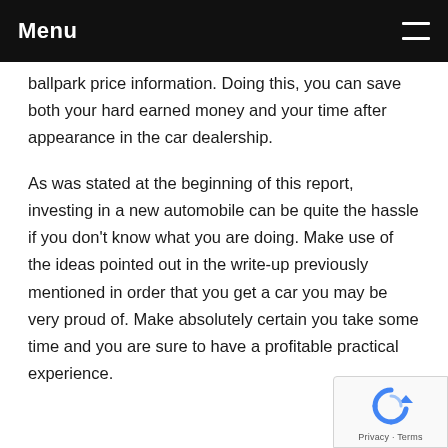Menu
ballpark price information. Doing this, you can save both your hard earned money and your time after appearance in the car dealership.
As was stated at the beginning of this report, investing in a new automobile can be quite the hassle if you don't know what you are doing. Make use of the ideas pointed out in the write-up previously mentioned in order that you get a car you may be very proud of. Make absolutely certain you take some time and you are sure to have a profitable practical experience.
[Figure (logo): reCAPTCHA badge with Privacy and Terms text]